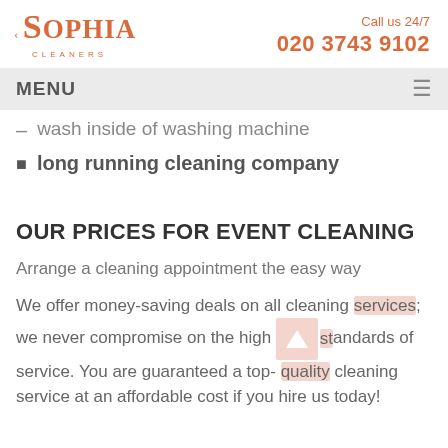Sophia Cleaners | Call us 24/7 | 020 3743 9102
MENU
wash inside of washing machine
long running cleaning company
OUR PRICES FOR EVENT CLEANING
Arrange a cleaning appointment the easy way
We offer money-saving deals on all cleaning services; we never compromise on the high standards of service. You are guaranteed a top-quality cleaning service at an affordable cost if you hire us today!